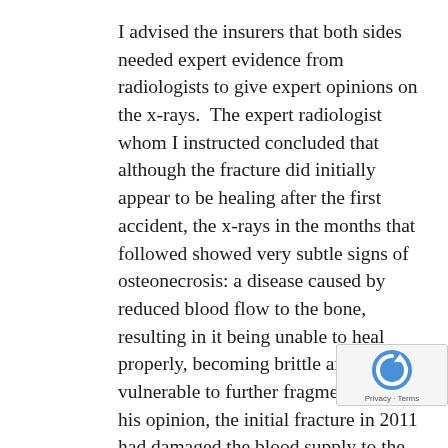I advised the insurers that both sides needed expert evidence from radiologists to give expert opinions on the x-rays.  The expert radiologist whom I instructed concluded that although the fracture did initially appear to be healing after the first accident, the x-rays in the months that followed showed very subtle signs of osteonecrosis: a disease caused by reduced blood flow to the bone, resulting in it being unable to heal properly, becoming brittle and vulnerable to further fragmentation.  In his opinion, the initial fracture in 2011 had damaged the blood supply to the bone so that it was not adequate to allow the bone to heal properly.  Our radiologist was confident that pre-January 2012, although the fracture line did appear to have disappeared, the fracture had not healed.  The whole bone was still in the process of trying to heal, it was brittle as it was without an adequate blood supply and vulnerable to further trauma.  The further trauma